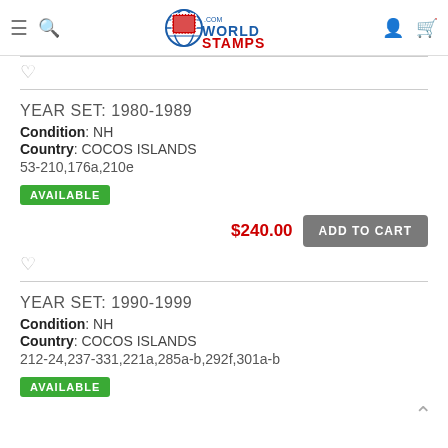WorldStamps.com
[Figure (logo): WorldStamps.com logo with globe and stamp graphic, navigation icons for menu, search, account, and cart]
YEAR SET: 1980-1989
Condition: NH
Country: COCOS ISLANDS
53-210,176a,210e
AVAILABLE
$240.00
ADD TO CART
YEAR SET: 1990-1999
Condition: NH
Country: COCOS ISLANDS
212-24,237-331,221a,285a-b,292f,301a-b
AVAILABLE